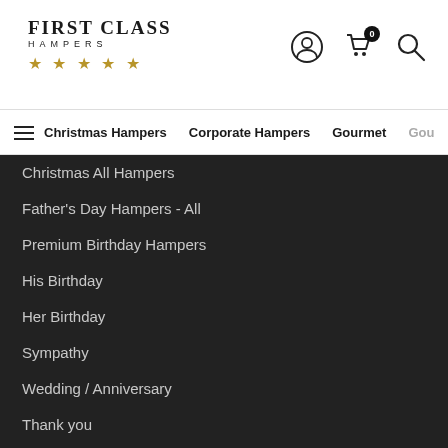[Figure (logo): First Class Hampers logo with five gold stars]
Christmas Hampers | Corporate Hampers | Gourmet
Christmas All Hampers
Father's Day Hampers - All
Premium Birthday Hampers
His Birthday
Her Birthday
Sympathy
Wedding / Anniversary
Thank you
Sorry
Get Well Soon
Mother's Day
Christmas - Worlds Biggest